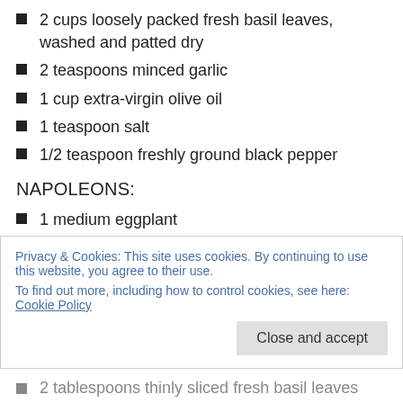2 cups loosely packed fresh basil leaves, washed and patted dry
2 teaspoons minced garlic
1 cup extra-virgin olive oil
1 teaspoon salt
1/2 teaspoon freshly ground black pepper
NAPOLEONS:
1 medium eggplant
1/4 cup plus 1 tablespoon extra-virgin olive oil
1/4 cup balsamic vinegar
Privacy & Cookies: This site uses cookies. By continuing to use this website, you agree to their use.
To find out more, including how to control cookies, see here: Cookie Policy
2 tablespoons thinly sliced fresh basil leaves